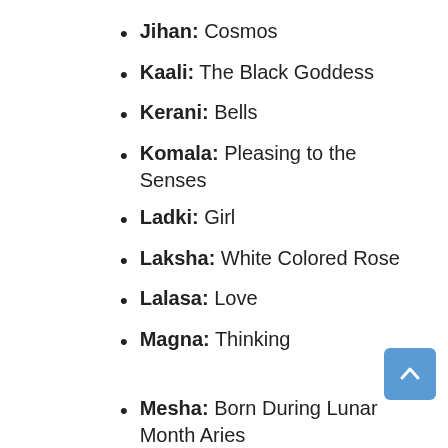Jihan: Cosmos
Kaali: The Black Goddess
Kerani: Bells
Komala: Pleasing to the Senses
Ladki: Girl
Laksha: White Colored Rose
Lalasa: Love
Magna: Thinking
Mesha: Born During Lunar Month Aries
Neha: Cherished
Pranti: Catch Up